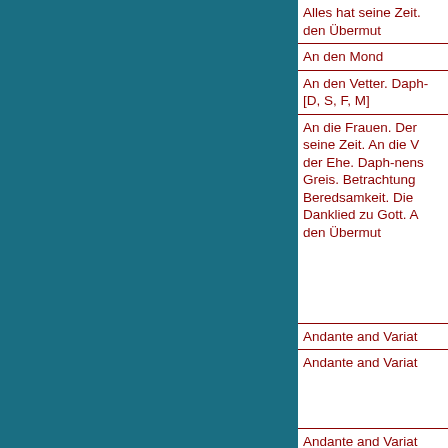| Alles hat seine Zeit. den Übermut |
| An den Mond |
| An den Vetter. Daph- [D, S, F, M] |
| An die Frauen. Der seine Zeit. An die V der Ehe. Daph-nens Greis. Betrachtung Beredsamkeit. Die Danklied zu Gott. A den Übermut |
| Andante and Variat |
| Andante and Variat |
| Andante and Variat |